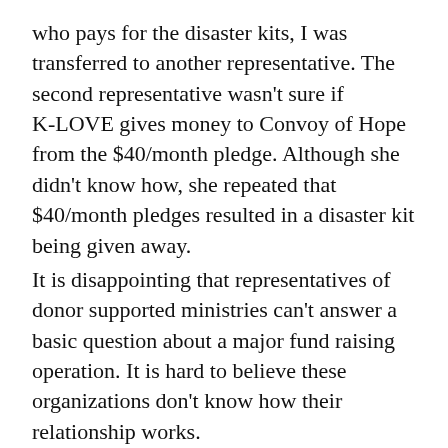who pays for the disaster kits, I was transferred to another representative. The second representative wasn't sure if K‑LOVE gives money to Convoy of Hope from the $40/month pledge. Although she didn't know how, she repeated that $40/month pledges resulted in a disaster kit being given away.
It is disappointing that representatives of donor supported ministries can't answer a basic question about a major fund raising operation. It is hard to believe these organizations don't know how their relationship works.
To me, K‑LOVE and CoH describe a scenario where the disaster relief kits are being held for ransom. The K‑LOVE donors pay the